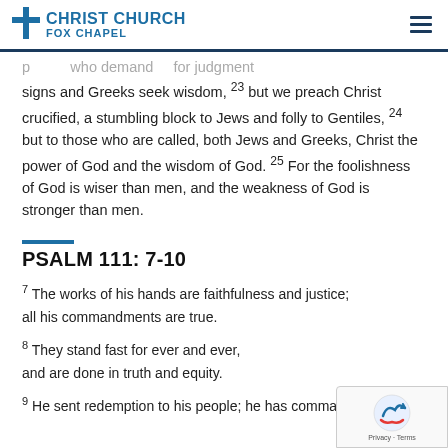Christ Church Fox Chapel
signs and Greeks seek wisdom, 23 but we preach Christ crucified, a stumbling block to Jews and folly to Gentiles, 24 but to those who are called, both Jews and Greeks, Christ the power of God and the wisdom of God. 25 For the foolishness of God is wiser than men, and the weakness of God is stronger than men.
PSALM 111: 7-10
7 The works of his hands are faithfulness and justice; all his commandments are true.
8 They stand fast for ever and ever, and are done in truth and equity.
9 He sent redemption to his people; he has commanded